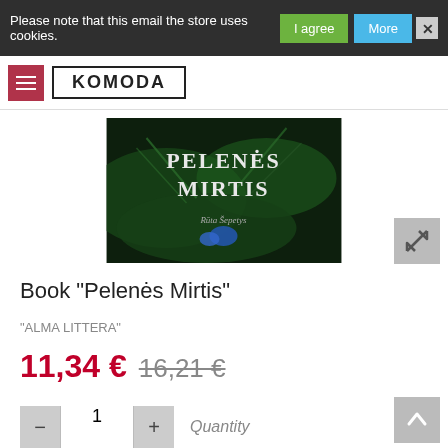Please note that this email the store uses cookies.
[Figure (screenshot): Book cover image for 'Pelenės Mirtis' showing green foliage and the title text in white/silver on a dark background]
Book "Pelenės Mirtis"
"ALMA LITTERA"
11,34 €  16,21 €
1  Quantity
ADD TO CART